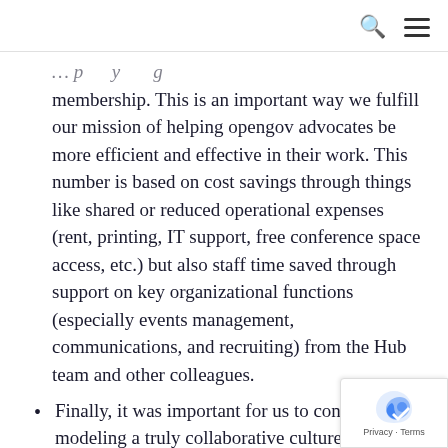membership. This is an important way we fulfill our mission of helping opengov advocates be more efficient and effective in their work. This number is based on cost savings through things like shared or reduced operational expenses (rent, printing, IT support, free conference space access, etc.) but also staff time saved through support on key organizational functions (especially events management, communications, and recruiting) from the Hub team and other colleagues.
Finally, it was important for us to continue modeling a truly collaborative culture, where Open Gov Hub is a place that is naturally